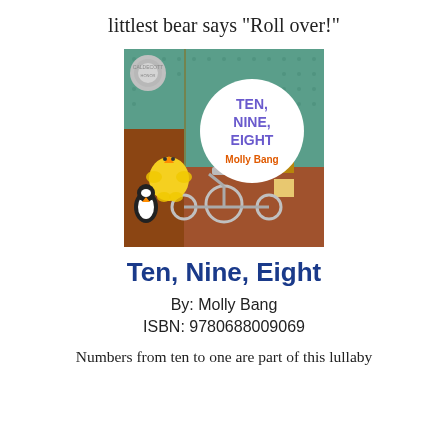littlest bear says "Roll over!"
[Figure (photo): Cover of the children's book 'Ten, Nine, Eight' by Molly Bang. Shows a room scene with a yellow bird, a penguin, a tricycle, and building blocks. A large white circle in the center displays the title 'TEN, NINE, EIGHT' in blue/purple text and 'Molly Bang' in orange. A Caldecott Honor medal is visible in the upper left corner.]
Ten, Nine, Eight
By: Molly Bang
ISBN: 9780688009069
Numbers from ten to one are part of this lullaby